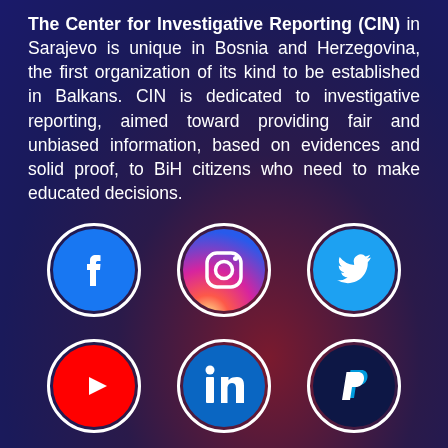The Center for Investigative Reporting (CIN) in Sarajevo is unique in Bosnia and Herzegovina, the first organization of its kind to be established in Balkans. CIN is dedicated to investigative reporting, aimed toward providing fair and unbiased information, based on evidences and solid proof, to BiH citizens who need to make educated decisions.
[Figure (infographic): Six social media icons in two rows: Facebook, Instagram, Twitter (top row); YouTube, LinkedIn, PayPal (bottom row). Each icon is a circle with white border on dark purple background.]